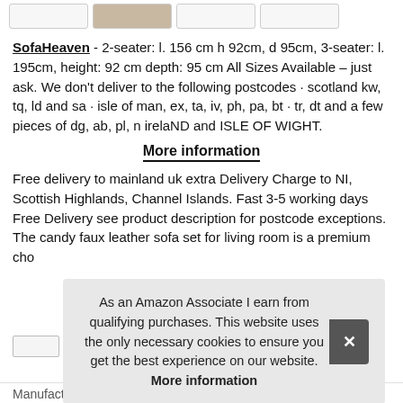[Figure (other): Row of four thumbnail image boxes at the top of the page, second one showing a sofa image.]
SofaHeaven - 2-seater: l. 156 cm h 92cm, d 95cm, 3-seater: l. 195cm, height: 92 cm depth: 95 cm All Sizes Available – just ask. We don't deliver to the following postcodes · scotland kw, tq, ld and sa · isle of man, ex, ta, iv, ph, pa, bt · tr, dt and a few pieces of dg, ab, pl, n irelaND and ISLE OF WIGHT.
More information
Free delivery to mainland uk extra Delivery Charge to NI, Scottish Highlands, Channel Islands. Fast 3-5 working days Free Delivery see product description for postcode exceptions. The candy faux leather sofa set for living room is a premium cho
As an Amazon Associate I earn from qualifying purchases. This website uses the only necessary cookies to ensure you get the best experience on our website. More information
Manufacturer: SofaHeaven